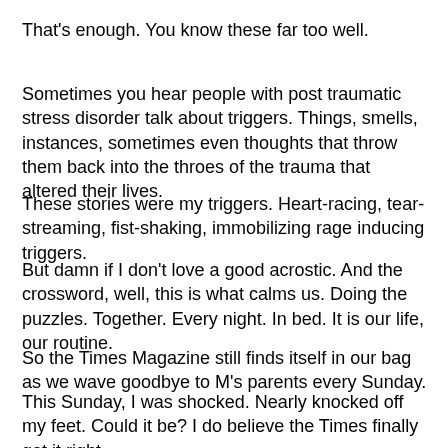That's enough. You know these far too well.
Sometimes you hear people with post traumatic stress disorder talk about triggers. Things, smells, instances, sometimes even thoughts that throw them back into the throes of the trauma that altered their lives.
These stories were my triggers. Heart-racing, tear-streaming, fist-shaking, immobilizing rage inducing triggers.
But damn if I don't love a good acrostic. And the crossword, well, this is what calms us. Doing the puzzles. Together. Every night. In bed. It is our life, our routine.
So the Times Magazine still finds itself in our bag as we wave goodbye to M's parents every Sunday.
This Sunday, I was shocked. Nearly knocked off my feet. Could it be? I do believe the Times finally got it right.
And I am guessing they have no idea.